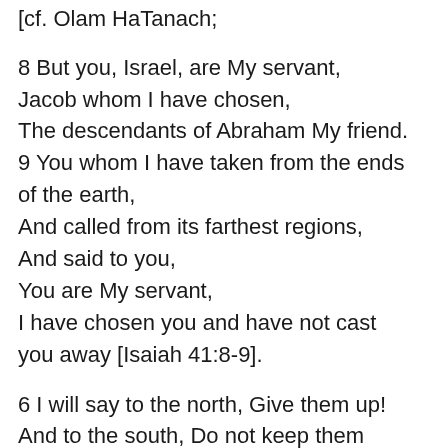[cf. Olam HaTanach;
8 But you, Israel, are My servant,
Jacob whom I have chosen,
The descendants of Abraham My friend.
9 You whom I have taken from the ends of the earth,
And called from its farthest regions,
And said to you,
You are My servant,
I have chosen you and have not cast you away [Isaiah 41:8-9].
6 I will say to the north, Give them up!
And to the south, Do not keep them back!